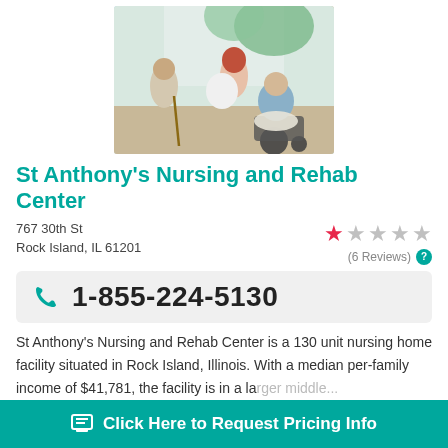[Figure (photo): Elderly care scene: a smiling caregiver with red hair hugging an elderly woman in a wheelchair, with another elderly man in the background]
St Anthony's Nursing and Rehab Center
767 30th St
Rock Island, IL 61201
(6 Reviews)
1-855-224-5130
St Anthony's Nursing and Rehab Center is a 130 unit nursing home facility situated in Rock Island, Illinois. With a median per-family income of $41,781, the facility is in a la...
Click Here to Request Pricing Info